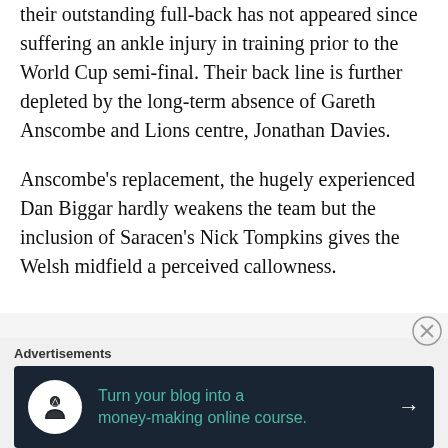their outstanding full-back has not appeared since suffering an ankle injury in training prior to the World Cup semi-final. Their back line is further depleted by the long-term absence of Gareth Anscombe and Lions centre, Jonathan Davies.
Anscombe's replacement, the hugely experienced Dan Biggar hardly weakens the team but the inclusion of Saracen's Nick Tompkins gives the Welsh midfield a perceived callowness.
[Figure (other): Advertisement banner: 'Turn your blog into a money-making online course.' with dark background and green text and arrow]